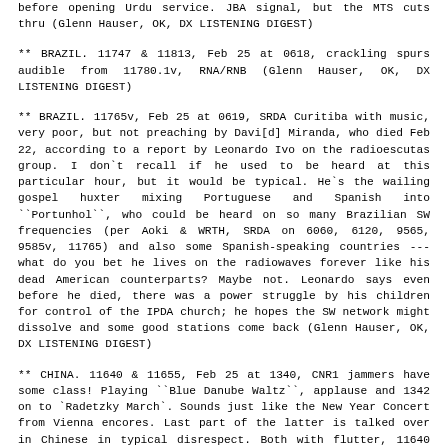before opening Urdu service. JBA signal, but the MTS cuts thru (Glenn Hauser, OK, DX LISTENING DIGEST)
** BRAZIL. 11747 & 11813, Feb 25 at 0618, crackling spurs audible from 11780.1v, RNA/RNB (Glenn Hauser, OK, DX LISTENING DIGEST)
** BRAZIL. 11765v, Feb 25 at 0619, SRDA Curitiba with music, very poor, but not preaching by Davi[d] Miranda, who died Feb 22, according to a report by Leonardo Ivo on the radioescutas group. I don`t recall if he used to be heard at this particular hour, but it would be typical. He`s the wailing gospel huxter mixing Portuguese and Spanish into ``Portunhol``, who could be heard on so many Brazilian SW frequencies (per Aoki & WRTH, SRDA on 6060, 6120, 9565, 9585v, 11765) and also some Spanish-speaking countries --- what do you bet he lives on the radiowaves forever like his dead American counterparts? Maybe not. Leonardo says even before he died, there was a power struggle by his children for control of the IPDA church; he hopes the SW network might dissolve and some good stations come back (Glenn Hauser, OK, DX LISTENING DIGEST)
** CHINA. 11640 & 11655, Feb 25 at 1340, CNR1 jammers have some class! Playing ``Blue Danube Waltz``, applause and 1342 on to `Radetzky March`. Sounds just like the New Year Concert from Vienna encores. Last part of the latter is talked over in Chinese in typical disrespect. Both with flutter, 11640 clearer vs RTI, while 11655 has CCI from victim VOA Chinese (Glenn Hauser, OK, DX LISTENING DIGEST)